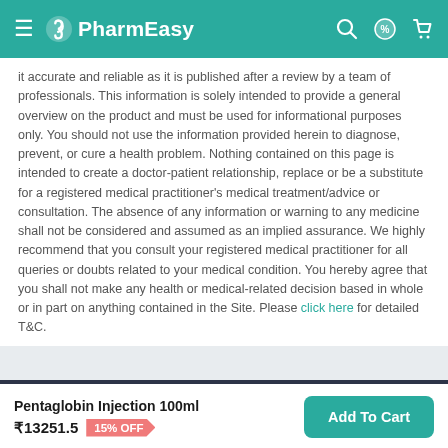PharmEasy
it accurate and reliable as it is published after a review by a team of professionals. This information is solely intended to provide a general overview on the product and must be used for informational purposes only. You should not use the information provided herein to diagnose, prevent, or cure a health problem. Nothing contained on this page is intended to create a doctor-patient relationship, replace or be a substitute for a registered medical practitioner's medical treatment/advice or consultation. The absence of any information or warning to any medicine shall not be considered and assumed as an implied assurance. We highly recommend that you consult your registered medical practitioner for all queries or doubts related to your medical condition. You hereby agree that you shall not make any health or medical-related decision based in whole or in part on anything contained in the Site. Please click here for detailed T&C.
Browse offers and get FLAT 15% OFF
Pentaglobin Injection 100ml ₹13251.5 15% OFF Add To Cart